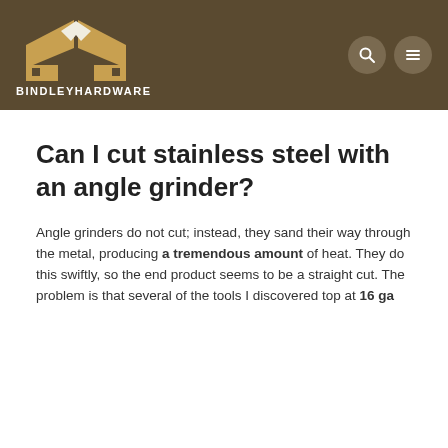BINDLEYHARDWARE
Can I cut stainless steel with an angle grinder?
Angle grinders do not cut; instead, they sand their way through the metal, producing a tremendous amount of heat. They do this swiftly, so the end product seems to be a straight cut. The problem is that several of the tools I discovered top at 16 ga